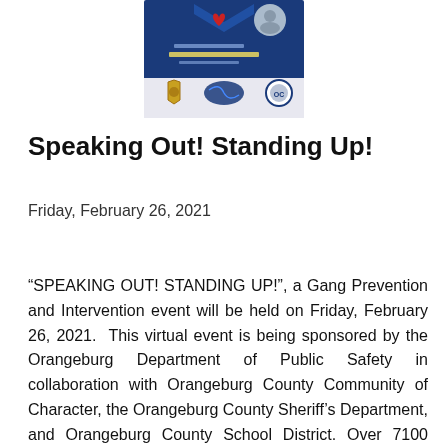[Figure (other): Event flyer image with blue background showing 'Speaking Out! Standing Up!' with date Friday, February 26, 2021, and logos of law enforcement and community organizations at the bottom.]
Speaking Out! Standing Up!
Friday, February 26, 2021
“SPEAKING OUT! STANDING UP!”, a Gang Prevention and Intervention event will be held on Friday, February 26, 2021. This virtual event is being sponsored by the Orangeburg Department of Public Safety in collaboration with Orangeburg County Community of Character, the Orangeburg County Sheriff’s Department, and Orangeburg County School District. Over 7100 Orangeburg County School